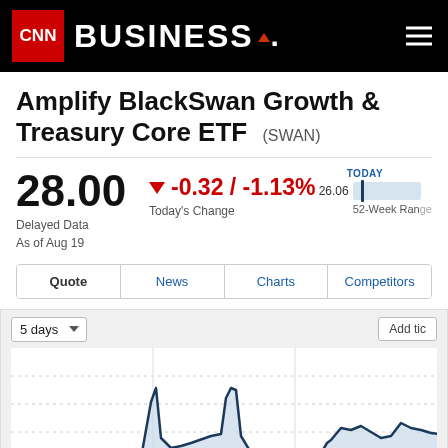CNN BUSINESS
Amplify BlackSwan Growth & Treasury Core ETF (SWAN)
28.00
Delayed Data
As of Aug 19
▼ -0.32 / -1.13%
Today's Change
26.06
TODAY
52-Week Range
Quote | News | Charts | Competitors
[Figure (line-chart): 5-day line chart for Amplify BlackSwan Growth & Treasury Core ETF (SWAN) showing price movements over 5 days with peaks and valleys, area fill below the line in light blue/grey]